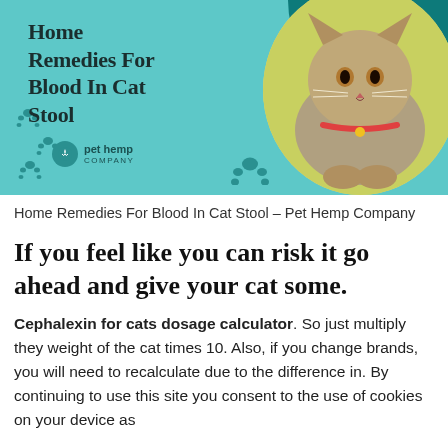[Figure (illustration): Infographic banner with light teal background, teal corner accent top-right, circular cat photo (gray tabby kitten), paw print decorations, bold title text 'Home Remedies For Blood In Cat Stool', and Pet Hemp Company logo.]
Home Remedies For Blood In Cat Stool – Pet Hemp Company
If you feel like you can risk it go ahead and give your cat some.
Cephalexin for cats dosage calculator. So just multiply they weight of the cat times 10. Also, if you change brands, you will need to recalculate due to the difference in. By continuing to use this site you consent to the use of cookies on your device as